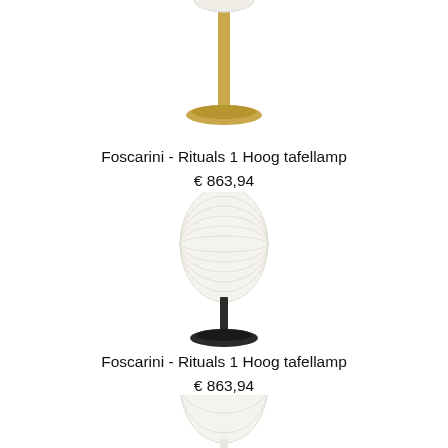[Figure (photo): Foscarini Rituals 1 Hoog table lamp with brass/gold stem and circular base, white ribbed oval shade, top portion only visible]
Foscarini - Rituals 1 Hoog tafellamp
€ 863,94
[Figure (photo): Foscarini Rituals 1 Hoog table lamp with black stem and dark circular base, white ribbed oval shade, full lamp visible]
Foscarini - Rituals 1 Hoog tafellamp
€ 863,94
[Figure (photo): Foscarini Rituals 1 Hoog table lamp with white/light stem, white ribbed oval shade, partial view at bottom of page]